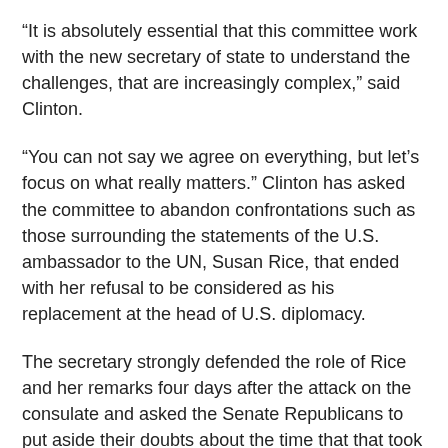“It is absolutely essential that this committee work with the new secretary of state to understand the challenges, that are increasingly complex,” said Clinton.
“You can not say we agree on everything, but let’s focus on what really matters.” Clinton has asked the committee to abandon confrontations such as those surrounding the statements of the U.S. ambassador to the UN, Susan Rice, that ended with her refusal to be considered as his replacement at the head of U.S. diplomacy.
The secretary strongly defended the role of Rice and her remarks four days after the attack on the consulate and asked the Senate Republicans to put aside their doubts about the time that that took the Administration to recognize that it was a terrorist attack.